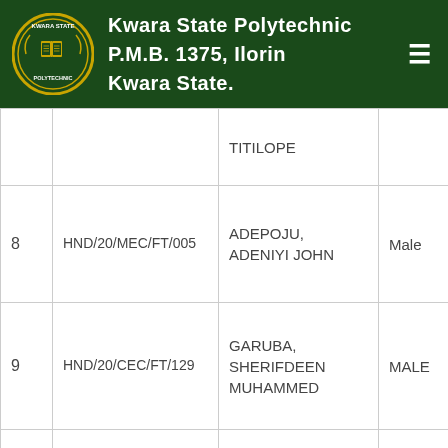Kwara State Polytechnic P.M.B. 1375, Ilorin Kwara State.
| # | Matric No | Name | Gender |
| --- | --- | --- | --- |
|  |  | TITILOPE |  |
| 8 | HND/20/MEC/FT/005 | ADEPOJU, ADENIYI JOHN | Male |
| 9 | HND/20/CEC/FT/129 | GARUBA, SHERIFDEEN MUHAMMED | MALE |
| 10 | HND/20/CEC/FT/203 | ABDULKADIR, HABEEB OLAMILEKAN | MALE |